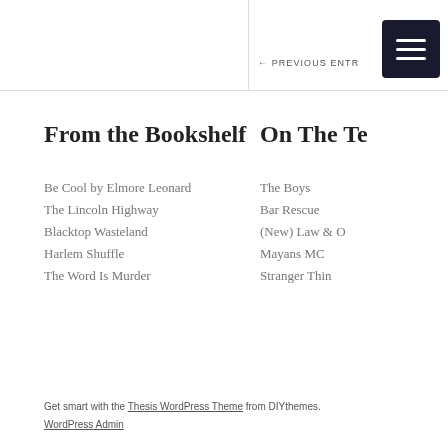← PREVIOUS ENTRY
From the Bookshelf
Be Cool by Elmore Leonard
The Lincoln Highway
Blacktop Wasteland
Harlem Shuffle
The Word Is Murder
On The Te
The Boys
Bar Rescue
(New) Law & O
Mayans MC
Stranger Thin
Get smart with the Thesis WordPress Theme from DIYthemes. WordPress Admin